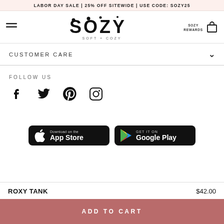LABOR DAY SALE | 25% OFF SITEWIDE | USE CODE: SOZY25
[Figure (logo): SOZY SOFT + COZY brand logo with decorative letterforms]
CUSTOMER CARE
FOLLOW US
[Figure (illustration): Social media icons: Facebook, Twitter, Pinterest, Instagram]
[Figure (illustration): App store download buttons: Download on the App Store and Get it on Google Play]
ROXY TANK   $42.00
ADD TO CART